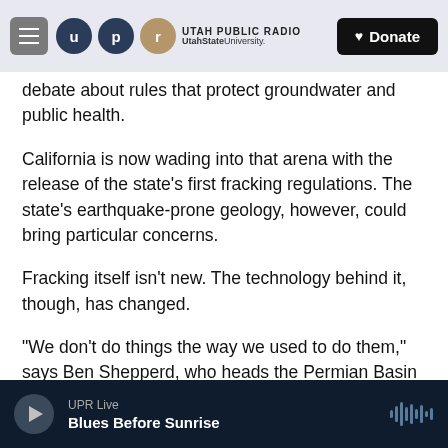UTAH PUBLIC RADIO | UtahStateUniversity. | Donate
debate about rules that protect groundwater and public health.
California is now wading into that arena with the release of the state's first fracking regulations. The state's earthquake-prone geology, however, could bring particular concerns.
Fracking itself isn't new. The technology behind it, though, has changed.
"We don't do things the way we used to do them," says Ben Shepperd, who heads the Permian Basin Petroleum Association, a regional trade group in
UPR Live | Blues Before Sunrise